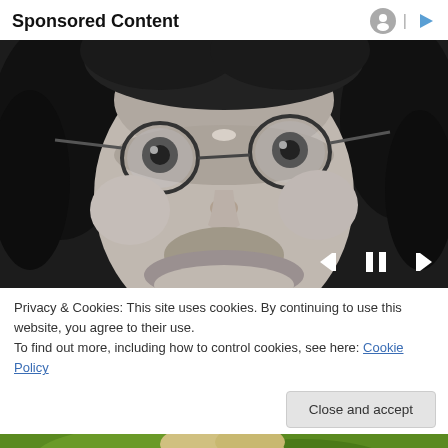Sponsored Content
[Figure (photo): Black and white close-up portrait of a young man with long hair and round glasses, looking upward. Media player controls (skip back, pause, skip forward) are visible in the bottom right corner of the image.]
Privacy & Cookies: This site uses cookies. By continuing to use this website, you agree to their use.
To find out more, including how to control cookies, see here: Cookie Policy
Close and accept
[Figure (photo): Partial view of a second photo showing a person with gray hair in a green/yellow outdoor setting, only the top portion visible at the bottom of the page.]